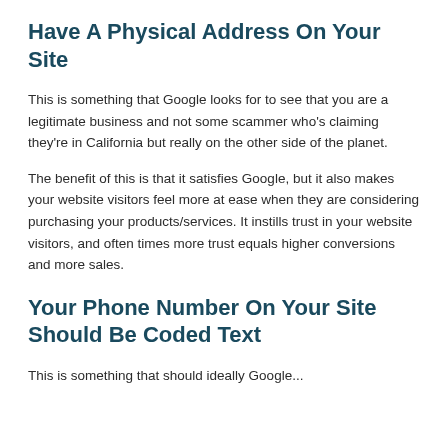Have A Physical Address On Your Site
This is something that Google looks for to see that you are a legitimate business and not some scammer who's claiming they're in California but really on the other side of the planet.
The benefit of this is that it satisfies Google, but it also makes your website visitors feel more at ease when they are considering purchasing your products/services. It instills trust in your website visitors, and often times more trust equals higher conversions and more sales.
Your Phone Number On Your Site Should Be Coded Text
This is something...